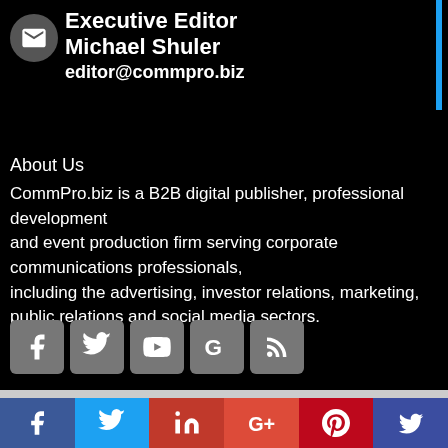Executive Editor
Michael Shuler
editor@commpro.biz
About Us
CommPro.biz is a B2B digital publisher, professional development and event production firm serving corporate communications professionals, including the advertising, investor relations, marketing, public relations and social media sectors.
[Figure (infographic): Social media icons: Facebook, Twitter, YouTube, Google+, RSS feed]
Social share footer bar with Facebook, Twitter, LinkedIn, Google+, Pinterest, and another social icon